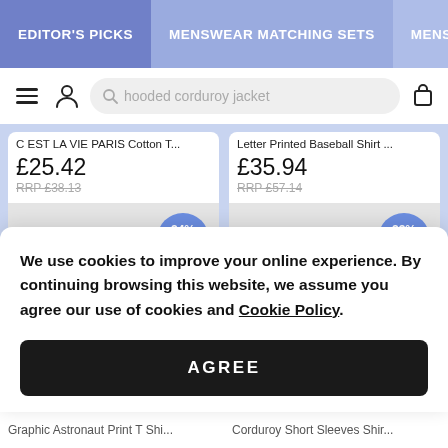EDITOR'S PICKS | MENSWEAR MATCHING SETS | MENSWEAR
hooded corduroy jacket
C EST LA VIE PARIS Cotton T... £25.42 RRP £38.13
Letter Printed Baseball Shirt ... £35.94 RRP £57.14
[Figure (screenshot): Discount badge showing 24% OFF on product image placeholder]
[Figure (screenshot): Discount badge showing 23% OFF on product image placeholder]
We use cookies to improve your online experience. By continuing browsing this website, we assume you agree our use of cookies and Cookie Policy.
AGREE
Graphic Astronaut Print T Shi...
Corduroy Short Sleeves Shir...